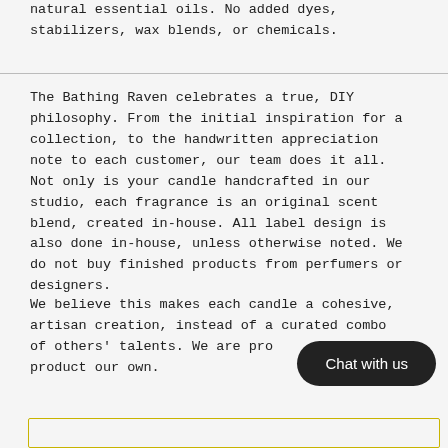natural essential oils. No added dyes, stabilizers, wax blends, or chemicals.
The Bathing Raven celebrates a true, DIY philosophy. From the initial inspiration for a collection, to the handwritten appreciation note to each customer, our team does it all. Not only is your candle handcrafted in our studio, each fragrance is an original scent blend, created in-house. All label design is also done in-house, unless otherwise noted. We do not buy finished products from perfumers or designers.
We believe this makes each candle a cohesive, artisan creation, instead of a curated combo of others' talents. We are proud to call each product our own.